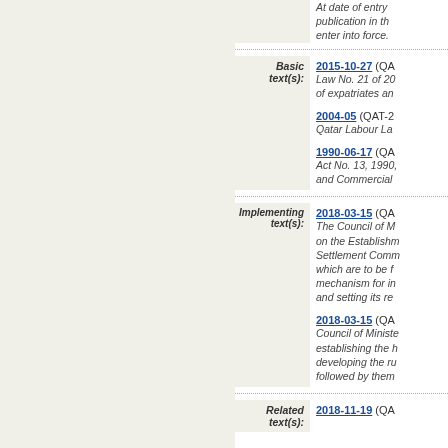At date of entry publication in the enter into force.
Basic text(s): 2015-10-27 (QA...) Law No. 21 of 20... of expatriates and...
2004-05 (QAT-2...) Qatar Labour Law...
1990-06-17 (QA...) Act No. 13, 1990, and Commercial...
Implementing text(s): 2018-03-15 (QA...) The Council of M... on the Establishment... Settlement Comm... which are to be f... mechanism for in... and setting its re...
2018-03-15 (QA...) Council of Ministe... establishing the h... developing the ru... followed by them...
Related text(s): 2018-11-19 (QA...)